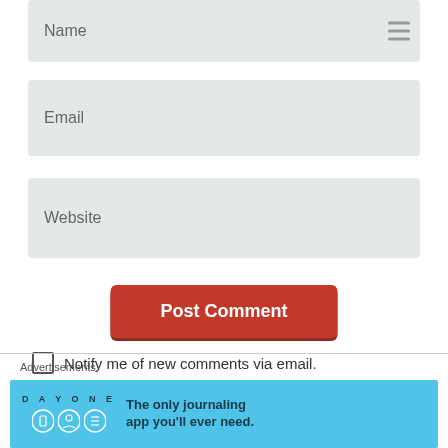Name
Email
Website
Post Comment
Notify me of new comments via email.
Notify me of new posts via email.
Advertisements
[Figure (screenshot): Day One journaling app advertisement banner with light blue background, app icons, and tagline: The only journaling app you'll ever need.]